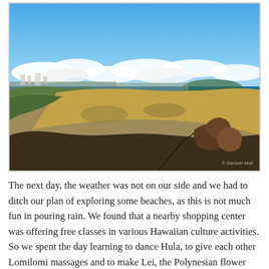[Figure (photo): Aerial panoramic view from a hilltop in Hawaii showing a wide volcanic crater valley with dry golden-brown grass and scrubby vegetation in the foreground, a coastal city and ocean in the middle distance, clouds on the horizon under a blue sky. Watermark reading 'Samuel Muli' in the lower right corner.]
The next day, the weather was not on our side and we had to ditch our plan of exploring some beaches, as this is not much fun in pouring rain. We found that a nearby shopping center was offering free classes in various Hawaiian culture activities. So we spent the day learning to dance Hula, to give each other Lomilomi massages and to make Lei, the Polynesian flower necklaces. In four weeks in